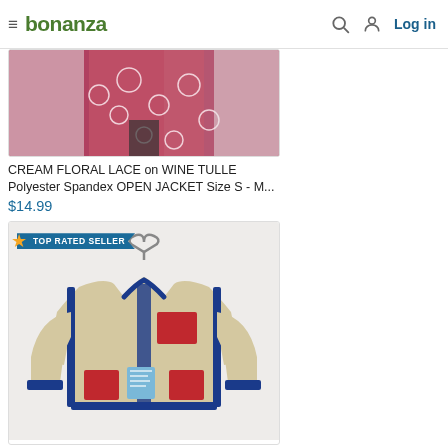bonanza  Log in
[Figure (photo): Partial product image of a cream floral lace on wine tulle polyester spandex open jacket, showing the fabric pattern hanging on a rack.]
CREAM FLORAL LACE on WINE TULLE Polyester Spandex OPEN JACKET Size S - M...
$14.99
[Figure (photo): Lego Baby Contrast Pocket Sherpa jacket in beige/cream with red pockets and blue trim, displayed on a hanger with tags attached. TOP RATED SELLER badge overlay.]
Lego Baby Contrast Pocket Sherpa